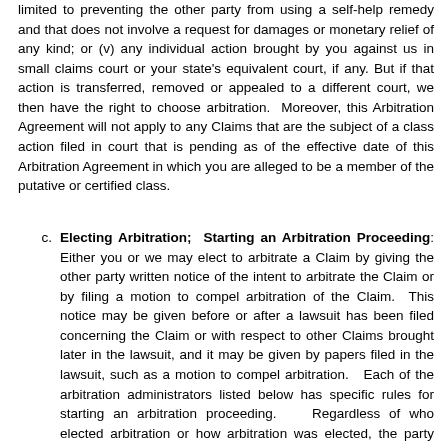limited to preventing the other party from using a self-help remedy and that does not involve a request for damages or monetary relief of any kind; or (v) any individual action brought by you against us in small claims court or your state's equivalent court, if any. But if that action is transferred, removed or appealed to a different court, we then have the right to choose arbitration. Moreover, this Arbitration Agreement will not apply to any Claims that are the subject of a class action filed in court that is pending as of the effective date of this Arbitration Agreement in which you are alleged to be a member of the putative or certified class.
c. Electing Arbitration; Starting an Arbitration Proceeding: Either you or we may elect to arbitrate a Claim by giving the other party written notice of the intent to arbitrate the Claim or by filing a motion to compel arbitration of the Claim. This notice may be given before or after a lawsuit has been filed concerning the Claim or with respect to other Claims brought later in the lawsuit, and it may be given by papers filed in the lawsuit, such as a motion to compel arbitration. Each of the arbitration administrators listed below has specific rules for starting an arbitration proceeding. Regardless of who elected arbitration or how arbitration was elected, the party asserting the Claim (i.e., the